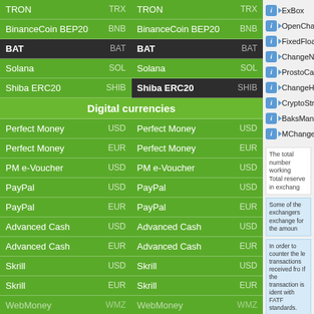| Currency | Code | Currency | Code |
| --- | --- | --- | --- |
| TRON | TRX | TRON | TRX |
| BinanceCoin BEP20 | BNB | BinanceCoin BEP20 | BNB |
| BAT | BAT | BAT | BAT |
| Solana | SOL | Solana | SOL |
| Shiba ERC20 | SHIB | Shiba ERC20 | SHIB |
| Digital currencies |  |  |  |
| Perfect Money | USD | Perfect Money | USD |
| Perfect Money | EUR | Perfect Money | EUR |
| PM e-Voucher | USD | PM e-Voucher | USD |
| PayPal | USD | PayPal | USD |
| PayPal | EUR | PayPal | EUR |
| Advanced Cash | USD | Advanced Cash | USD |
| Advanced Cash | EUR | Advanced Cash | EUR |
| Skrill | USD | Skrill | USD |
| Skrill | EUR | Skrill | EUR |
| WebMoney | WMZ | WebMoney | WMZ |
| Payeer | USD | Payeer | USD |
| Neteller | USD | Neteller | USD |
| Neteller | EUR | Neteller | EUR |
ExBox
OpenChange
FixedFloat
ChangeNow
ProstoCash
ChangeHero
CryptoStrike
BaksMan
MChange
The total number working Total reserve in exchang
Some of the exchangers exchange for the amoun
In order to counter the le transactions received fro If the transaction is ident with FATF standards.
About exchangin